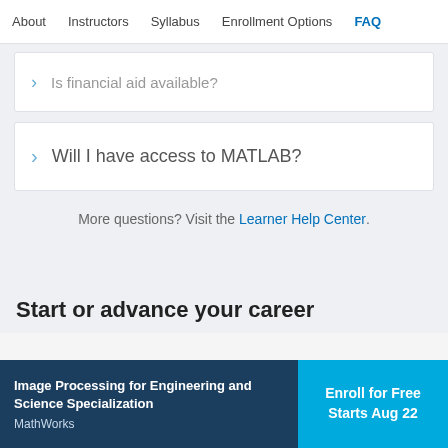About | Instructors | Syllabus | Enrollment Options | FAQ
Is financial aid available? (partially visible, collapsed)
Will I have access to MATLAB?
More questions? Visit the Learner Help Center.
Start or advance your career
Image Processing for Engineering and Science Specialization
MathWorks
Enroll for Free
Starts Aug 22